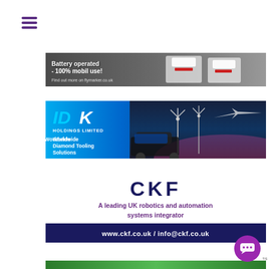[Figure (other): Hamburger menu icon with three purple horizontal lines]
[Figure (photo): Advertisement banner: Battery operated - 100% mobil use! Find out more on flymarker.co.uk. Shows industrial marking machines on dark background.]
[Figure (logo): IDK Holdings Limited advertisement banner - Worldwide Diamond Tooling Solutions, with images of car, wind turbines, and airplane]
[Figure (logo): CKF logo and tagline: A leading UK robotics and automation systems integrator. Banner with www.ckf.co.uk / info@ckf.co.uk]
[Figure (photo): Partial bottom advertisement banner showing green content]